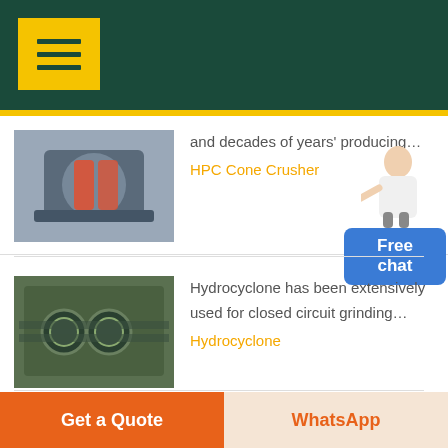[Figure (screenshot): Dark teal website header with yellow menu button showing three horizontal lines]
and decades of years' producing…
HPC Cone Crusher
[Figure (photo): Industrial HPC cone crusher machinery photo]
[Figure (illustration): Female assistant figure pointing toward Free chat button]
Free chat
Hydrocyclone has been extensively used for closed circuit grinding…
Hydrocyclone
[Figure (photo): Industrial hydrocyclone equipment photo]
LUM Series Ultrafine Vertical
Get a Quote
WhatsApp